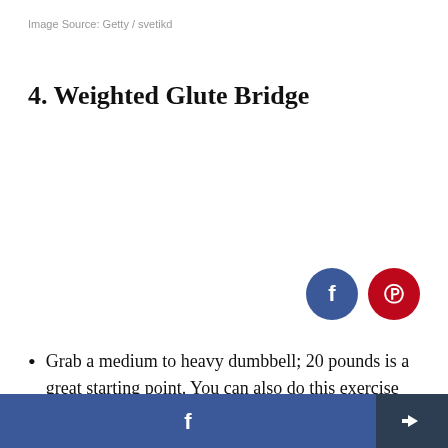Image Source: Getty / svetikd
4. Weighted Glute Bridge
[Figure (other): Social share buttons: Facebook (blue circle) and Pinterest (red circle)]
Grab a medium to heavy dumbbell; 20 pounds is a great starting point. You can also do this exercise using just your bodyweight.
Facebook share button and general share button